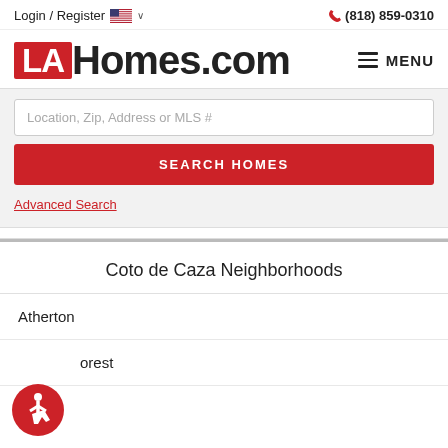Login / Register   🇺🇸 ∨       (818) 859-0310
[Figure (logo): LAHomes.com logo with red LA box and black Homes.com text, plus hamburger MENU icon]
Location, Zip, Address or MLS #
SEARCH HOMES
Advanced Search
Coto de Caza Neighborhoods
Atherton
orest
[Figure (illustration): Accessibility icon: red circle with wheelchair user symbol in white]